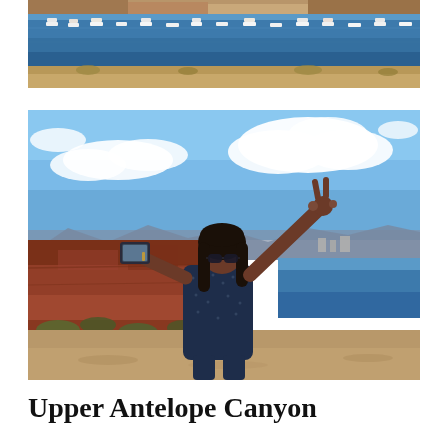[Figure (photo): Panoramic photo of Lake Powell with blue water, numerous boats/houseboats moored in a line, red sandstone cliffs and golden arid landscape in background.]
[Figure (photo): A woman in a dark patterned shirt and sunglasses takes a selfie while raising one arm in a peace sign, standing at Lake Powell with blue water, red rock formations, and partly cloudy sky in the background.]
Upper Antelope Canyon